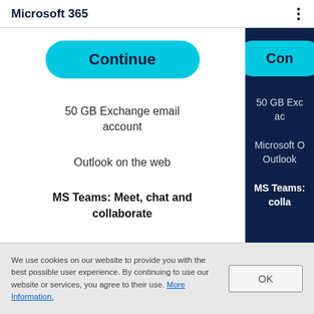Microsoft 365
[Figure (screenshot): Microsoft 365 subscription plan comparison page showing two columns. Left column (white background) shows a 'Continue' button and features: '50 GB Exchange email account', 'Outlook on the web', 'MS Teams: Meet, chat and collaborate'. Right column (dark navy background) shows a partially visible 'Con...' button and features: '50 GB Exc... ac...', 'Microsoft O... Outlook...', 'MS Teams: ... colla...']
We use cookies on our website to provide you with the best possible user experience. By continuing to use our website or services, you agree to their use. More Information.